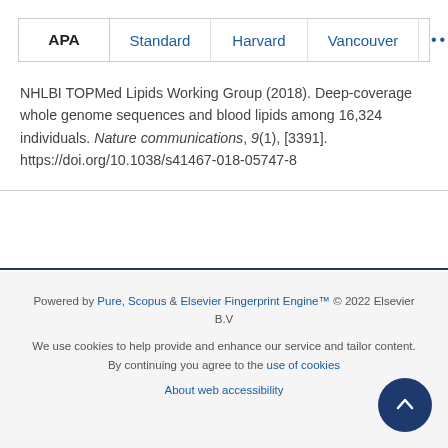APA  Standard  Harvard  Vancouver  ...
NHLBI TOPMed Lipids Working Group (2018). Deep-coverage whole genome sequences and blood lipids among 16,324 individuals. Nature communications, 9(1), [3391]. https://doi.org/10.1038/s41467-018-05747-8
Powered by Pure, Scopus & Elsevier Fingerprint Engine™ © 2022 Elsevier B.V

We use cookies to help provide and enhance our service and tailor content. By continuing you agree to the use of cookies

About web accessibility